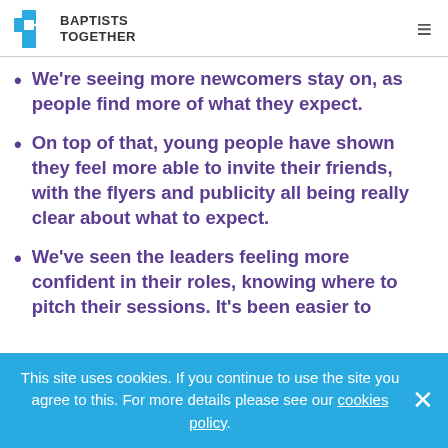Baptists Together
We're seeing more newcomers stay on, as people find more of what they expect.
On top of that, young people have shown they feel more able to invite their friends, with the flyers and publicity all being really clear about what to expect.
We've seen the leaders feeling more confident in their roles, knowing where to pitch their sessions. It's been easier to…
This site uses cookies. If you continue to use the site you agree to this. For more details please see our cookies policy.